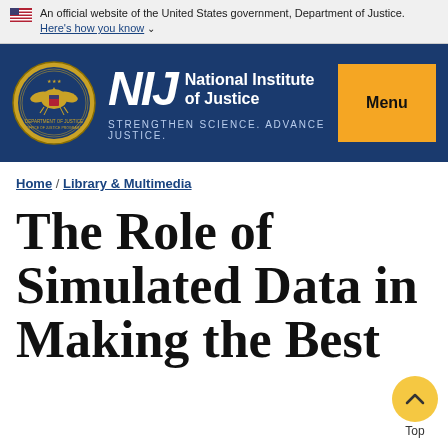An official website of the United States government, Department of Justice. Here's how you know
[Figure (logo): NIJ (National Institute of Justice) header logo with Department of Justice seal, tagline STRENGTHEN SCIENCE. ADVANCE JUSTICE., and Menu button]
Home / Library & Multimedia
The Role of Simulated Data in Making the Best